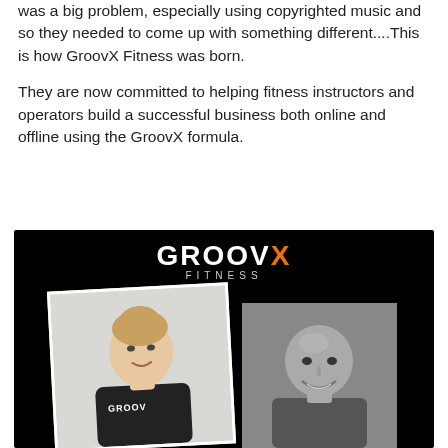was a big problem, especially using copyrighted music and so they needed to come up with something different....This is how GroovX Fitness was born.
They are now committed to helping fitness instructors and operators build a successful business both online and offline using the GroovX formula.
[Figure (photo): GroovX Fitness promotional image on black background showing the GroovX Fitness logo at the top, with two portrait photos below: a woman in fitness gear on the left and a bald man smiling on the right.]